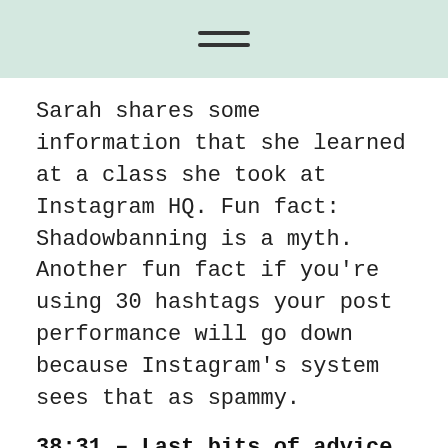≡
Sarah shares some information that she learned at a class she took at Instagram HQ. Fun fact: Shadowbanning is a myth. Another fun fact if you're using 30 hashtags your post performance will go down because Instagram's system sees that as spammy.
38:31 – Last bits of advice
Sarah recommends that if you're feeling stuck or like you haven't improved, try